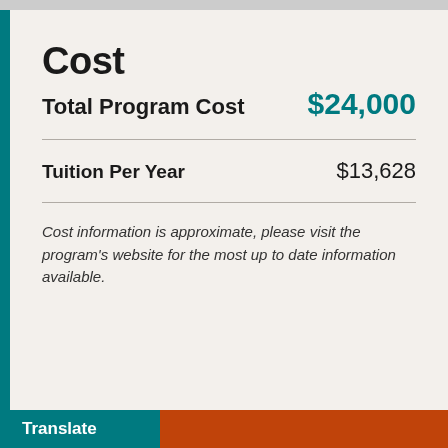Cost
Total Program Cost    $24,000
Tuition Per Year    $13,628
Cost information is approximate, please visit the program's website for the most up to date information available.
Translate